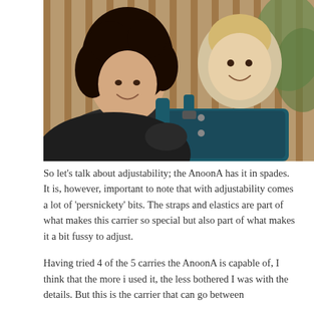[Figure (photo): A woman with curly dark hair smiling, carrying a baby in a dark teal and black structured baby carrier on her back. The baby is smiling at the camera. Outdoor background with wooden fence and greenery.]
So let's talk about adjustability; the AnoonA has it in spades. It is, however, important to note that with adjustability comes a lot of 'persnickety' bits. The straps and elastics are part of what makes this carrier so special but also part of what makes it a bit fussy to adjust.
Having tried 4 of the 5 carries the AnoonA is capable of, I think that the more i used it, the less bothered I was with the details. But this is the carrier that can go between